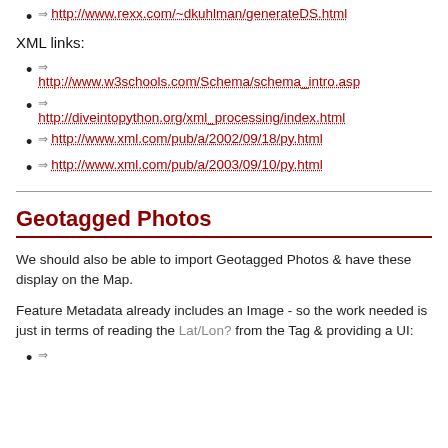http://www.rexx.com/~dkuhlman/generateDS.html
XML links:
http://www.w3schools.com/Schema/schema_intro.asp
http://diveintopython.org/xml_processing/index.html
http://www.xml.com/pub/a/2002/09/18/py.html
http://www.xml.com/pub/a/2003/09/10/py.html
Geotagged Photos
We should also be able to import Geotagged Photos & have these display on the Map.
Feature Metadata already includes an Image - so the work needed is just in terms of reading the Lat/Lon? from the Tag & providing a UI:
http://...